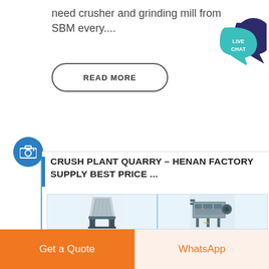need crusher and grinding mill from SBM every....
READ MORE
[Figure (illustration): Live Chat speech bubble icon with teal foreground bubble and dark navy background bubble]
[Figure (photo): Two industrial crushing/grinding machine images side by side: cone crusher on left, impact crusher/industrial mill on right]
CRUSH PLANT QUARRY - HENAN FACTORY SUPPLY BEST PRICE ...
Get a Quote
WhatsApp